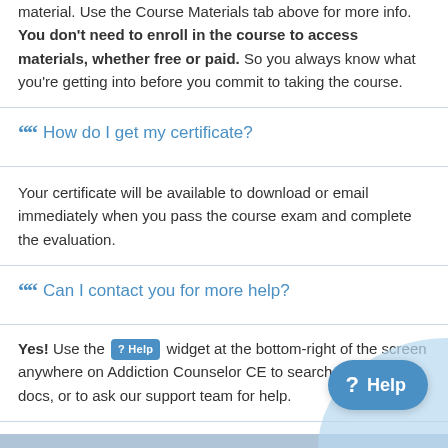material. Use the Course Materials tab above for more info. You don't need to enroll in the course to access materials, whether free or paid. So you always know what you're getting into before you commit to taking the course.
How do I get my certificate?
Your certificate will be available to download or email immediately when you pass the course exam and complete the evaluation.
Can I contact you for more help?
Yes! Use the ? Help widget at the bottom-right of the screen anywhere on Addiction Counselor CE to search our help docs, or to ask our support team for help.